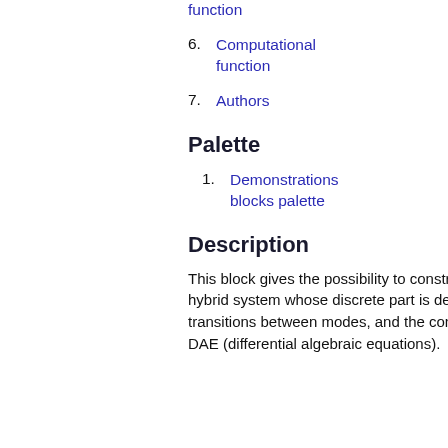Initializing function
6. Computational function
7. Authors
Palette
1. Demonstrations blocks palette
Description
This block gives the possibility to construct hybrid automata, i.e., a hybrid system whose discrete part is defined via modes and transitions between modes, and the continuous part is defined via DAE (differential algebraic equations).